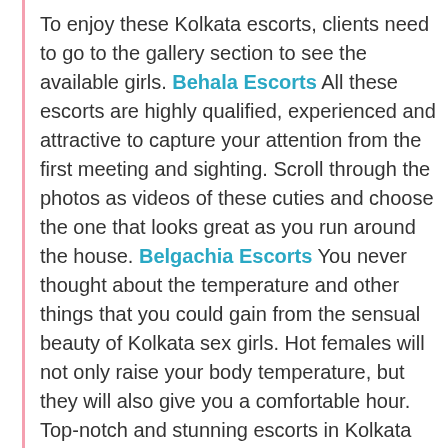To enjoy these Kolkata escorts, clients need to go to the gallery section to see the available girls. Behala Escorts All these escorts are highly qualified, experienced and attractive to capture your attention from the first meeting and sighting. Scroll through the photos as videos of these cuties and choose the one that looks great as you run around the house. Belgachia Escorts You never thought about the temperature and other things that you could gain from the sensual beauty of Kolkata sex girls. Hot females will not only raise your body temperature, but they will also give you a comfortable hour. Top-notch and stunning escorts in Kolkata are charming, crazy, sexy, fun-loving, BidhanNagar Escorts and laid-back too. You can find them with escorts near me. There are a few different types of sexual services available with Kolkata escorts. In the escort market, we are